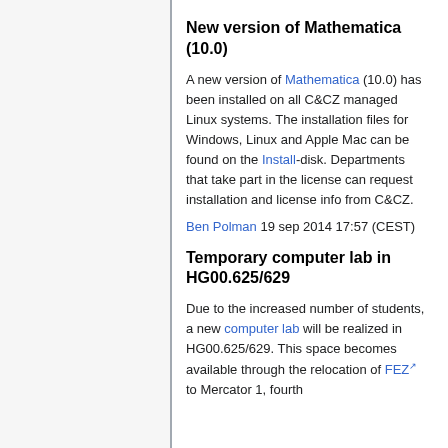New version of Mathematica (10.0)
A new version of Mathematica (10.0) has been installed on all C&CZ managed Linux systems. The installation files for Windows, Linux and Apple Mac can be found on the Install-disk. Departments that take part in the license can request installation and license info from C&CZ.
Ben Polman 19 sep 2014 17:57 (CEST)
Temporary computer lab in HG00.625/629
Due to the increased number of students, a new computer lab will be realized in HG00.625/629. This space becomes available through the relocation of FEZ to Mercator 1, fourth